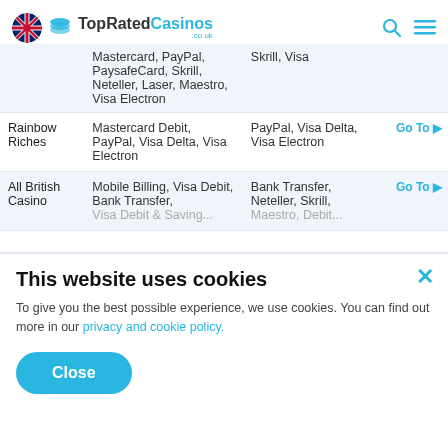TopRatedCasinos .co.uk
| Casino | Deposit Methods | Withdrawal Methods |  |
| --- | --- | --- | --- |
|  | Mastercard, PayPal, PaysafeCard, Skrill, Neteller, Laser, Maestro, Visa Electron | Skrill, Visa |  |
| Rainbow Riches | Mastercard Debit, PayPal, Visa Delta, Visa Electron | PayPal, Visa Delta, Visa Electron | Go To ▶ |
| All British Casino (partial) | Mobile Billing, Visa Debit, Bank Transfer, Visa Debit & Savings... | Bank Transfer, Neteller, Skrill, (partial)... | Go To ▶ |
This website uses cookies
To give you the best possible experience, we use cookies. You can find out more in our privacy and cookie policy.
Close